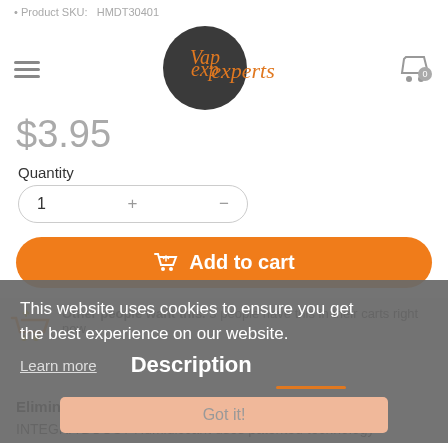Product SKU: HMDT30401
[Figure (logo): Vapexperts logo — circular dark background with Vapexperts script text in salmon/orange color]
$3.95
Quantity
1 + -
Add to cart
Other people want this. 3 people have this in their carts right now.
This website uses cookies to ensure you get the best experience on our website.
Learn more
Description
Got it!
Eliminate the Guessing Game
INTEGRA BOOST Humidiccant uses patented technology